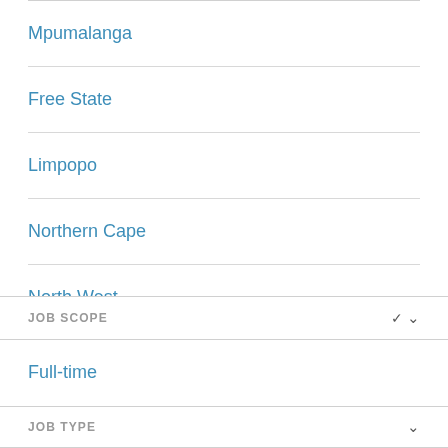Mpumalanga
Free State
Limpopo
Northern Cape
North West
JOB SCOPE
Full-time
JOB TYPE